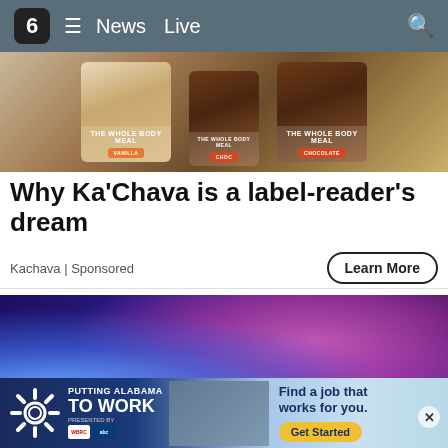6  ≡  News  Live  🔍
[Figure (photo): Product photo of Ka'Chava 'The Whole Body Meal' bags in vanilla and chocolate flavors]
Why Ka'Chava is a label-reader's dream
Kachava | Sponsored
Learn More
[Figure (photo): Police car with flashing blue and pink/purple lights at night scene]
[Figure (photo): Bottom advertisement banner: Putting Alabama To Work - Find a job that works for you. Get Started.]